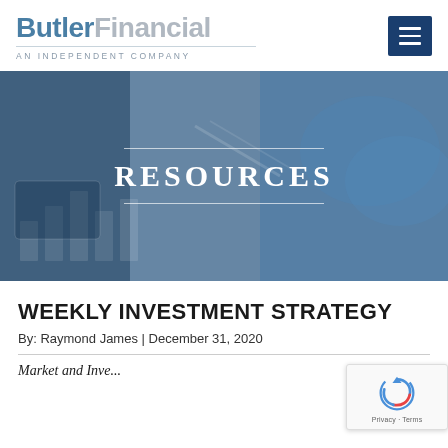[Figure (logo): Butler Financial logo with 'Butler' in blue and 'Financial' in gray, tagline 'AN INDEPENDENT COMPANY']
[Figure (photo): Dark blue tinted banner photo of hands writing/signing documents with financial charts, overlaid with the word RESOURCES in large serif white uppercase letters with decorative horizontal lines above and below]
WEEKLY INVESTMENT STRATEGY
By: Raymond James | December 31, 2020
Market and Inve...